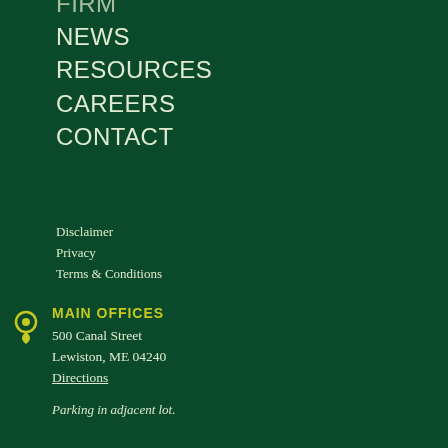FIRM
NEWS
RESOURCES
CAREERS
CONTACT
Disclaimer
Privacy
Terms & Conditions
MAIN OFFICES
500 Canal Street
Lewiston, ME 04240
Directions
Parking in adjacent lot.